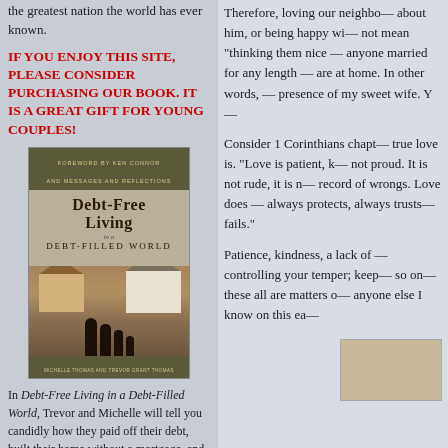the greatest nation the world has ever known.
IF YOU ENJOY THIS SITE, PLEASE CONSIDER PURCHASING OUR BOOK. IT IS A GREAT GIFT FOR YOUNG COUPLES!
[Figure (photo): Book cover of 'Debt-Free Living in a Debt-Filled World' with foreword by Ken Connor, showing images of houses and a family silhouette]
In Debt-Free Living in a Debt-Filled World, Trevor and Michelle will tell you candidly how they paid off their debt, built their home without a mortgage, and
Therefore, loving our neighbor — about him, or being happy with — not mean "thinking them nice" — anyone married for any length — are at home. In other words, — presence of my sweet wife. Y—
Consider 1 Corinthians chapt— true love is. "Love is patient, k— not proud. It is not rude, it is n— record of wrongs. Love does — always protects, always trusts— fails."
Patience, kindness, a lack of — controlling your temper; keep— so on—these all are matters o— anyone else I know on this ea—
[Figure (photo): Partial image of a doorway or room interior visible at bottom right]